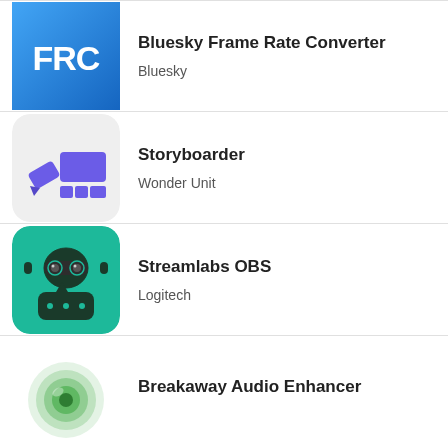[Figure (logo): Bluesky Frame Rate Converter app icon — blue gradient background with white text FRC]
Bluesky Frame Rate Converter
Bluesky
[Figure (logo): Storyboarder app icon — light grey background with purple pencil and storyboard panels]
Storyboarder
Wonder Unit
[Figure (logo): Streamlabs OBS app icon — teal background with robot/glasses mascot face]
Streamlabs OBS
Logitech
[Figure (logo): Breakaway Audio Enhancer app icon — green circular wave logo]
Breakaway Audio Enhancer